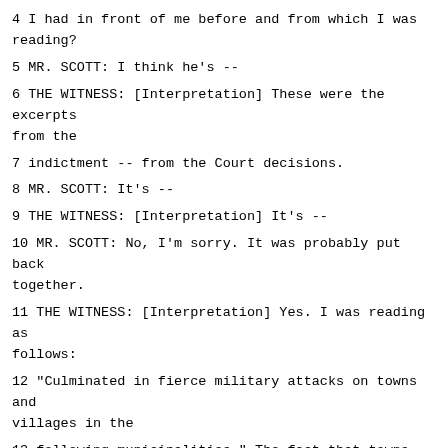4 I had in front of me before and from which I was reading?
5 MR. SCOTT: I think he's --
6 THE WITNESS: [Interpretation] These were the excerpts from the
7 indictment -- from the Court decisions.
8 MR. SCOTT: It's --
9 THE WITNESS: [Interpretation] It's --
10 MR. SCOTT: No, I'm sorry. It was probably put back together.
11 THE WITNESS: [Interpretation] Yes. I was reading as follows:
12 "Culminated in fierce military attacks on towns and villages in the
13 following municipalities." The fact that towns are mentioned here reveals
14 that it was written by somebody who doesn't know the situation in the
15 area. And secondly, I, as a historian make a huge distinction between the